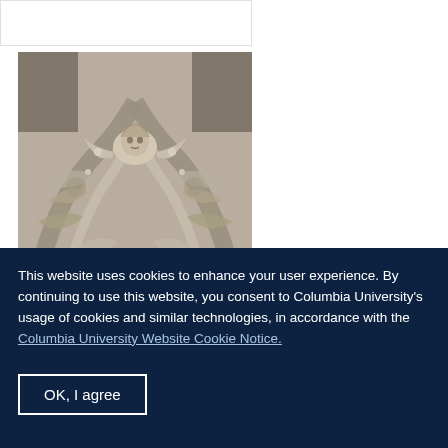[Figure (photo): Close-up photograph of Gothic stone relief carving from Église Saint-Martin de Clamecy, showing an angel face surrounded by ornate foliage and pointed arch tracery]
Église Saint-Martin de Clamecy
This website uses cookies to enhance your user experience. By continuing to use this website, you consent to Columbia University's usage of cookies and similar technologies, in accordance with the Columbia University Website Cookie Notice.
OK, I agree